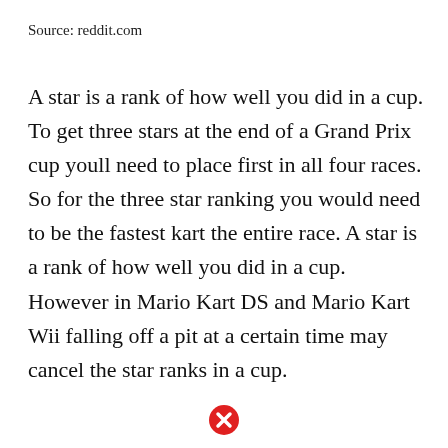Source: reddit.com
A star is a rank of how well you did in a cup. To get three stars at the end of a Grand Prix cup youll need to place first in all four races. So for the three star ranking you would need to be the fastest kart the entire race. A star is a rank of how well you did in a cup. However in Mario Kart DS and Mario Kart Wii falling off a pit at a certain time may cancel the star ranks in a cup.
[Figure (illustration): Red circle with white X close button icon]